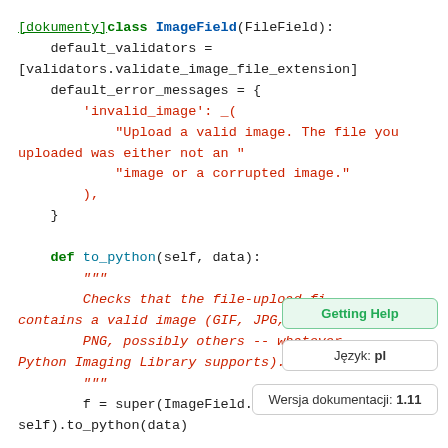[Figure (screenshot): Python source code snippet showing ImageField class definition with syntax highlighting. Green link '[dokumenty]', green 'class', blue 'ImageField', black text for class body including default_validators, default_error_messages with red string literals, and def to_python method with red docstring. Three popup boxes visible on right: 'Getting Help' (green), 'Język: pl', 'Wersja dokumentacji: 1.11'.]